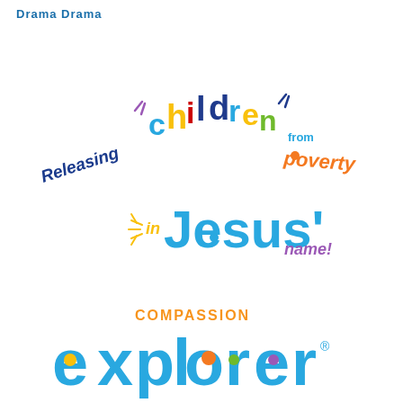Drama Drama
[Figure (logo): Colorful logo reading 'Releasing children from poverty in Jesus' name!' with each word in different bright colors arranged in an arc]
[Figure (logo): Compassion Explorer logo with 'COMPASSION' in orange above 'explorer' in large cyan/teal bubbly font with colored dots in letters and a registered trademark symbol]